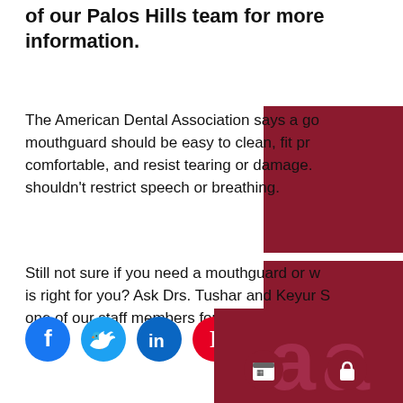of our Palos Hills team for more information.
The American Dental Association says a good mouthguard should be easy to clean, fit properly, comfortable, and resist tearing or damage. It shouldn’t restrict speech or breathing.
Still not sure if you need a mouthguard or which is right for you? Ask Drs. Tushar and Keyur S or one of our staff members for more information.
[Figure (photo): Red/maroon colored image block partially visible on right side]
[Figure (photo): Red/maroon colored image block partially visible on right side]
[Figure (logo): Social media icons: Facebook (blue), Twitter (light blue), LinkedIn (blue), Pinterest (red) in circles, plus a dark red footer area with calendar and lock icons and large 'aa' letters]